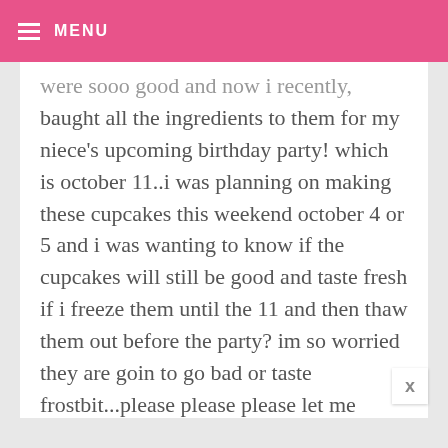MENU
...were sooo good and now i recently baught all the ingredients to them for my niece's upcoming birthday party! which is october 11..i was planning on making these cupcakes this weekend october 4 or 5 and i was wanting to know if the cupcakes will still be good and taste fresh if i freeze them until the 11 and then thaw them out before the party? im so worried they are goin to go bad or taste frostbit...please please please let me know what i